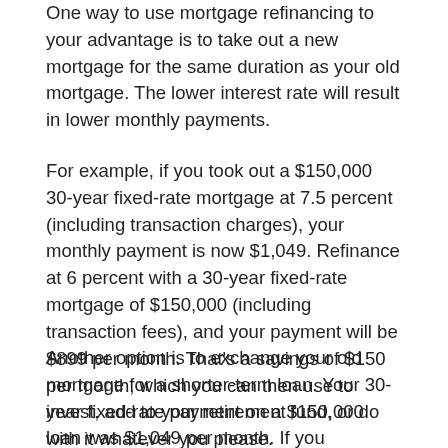One way to use mortgage refinancing to your advantage is to take out a new mortgage for the same duration as your old mortgage. The lower interest rate will result in lower monthly payments.
For example, if you took out a $150,000 30-year fixed-rate mortgage at 7.5 percent (including transaction charges), your monthly payment is now $1,049. Refinance at 6 percent with a 30-year fixed-rate mortgage of $150,000 (including transaction fees), and your payment will be $899 per month. That's a savings of $150 per month, which you can then use to invest, add to your retirement fund, or do with it whatever you please.
Another option is to exchange your old mortgage for a shorter-term loan. Your 30-year fixed-rate payment on a $150,000 loan was $1,049 per month. If you refinance with a 15-year fixed mortgage for $150,000 — including transaction costs — at 6 percent, your monthly payment will be $1,266. This payment is only $217 more than your previous mortgage, but